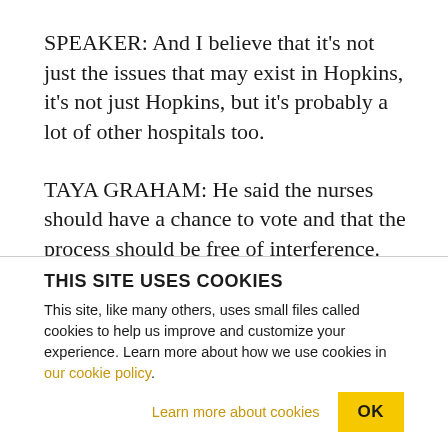SPEAKER: And I believe that it's not just the issues that may exist in Hopkins,
it's not just Hopkins, but it's probably a lot of other hospitals too.
TAYA GRAHAM: He said the nurses should have a chance to vote and that the process should be free of interference.
SPEAKER: People may want to discourage you and
THIS SITE USES COOKIES
This site, like many others, uses small files called cookies to help us improve and customize your experience. Learn more about how we use cookies in our cookie policy.
Learn more about cookies
OK